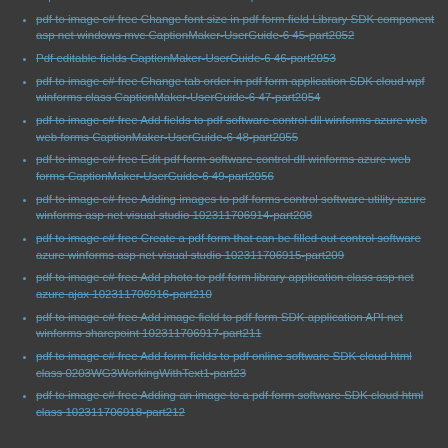asp net html web browser 102311706913-part207
pdf to image c# free Change font size in pdf form field Library SDK component asp net windows mvc CaptionMaker-UserGuide-6 45-part2052
Pdf editable fields CaptionMaker-UserGuide-6 46-part2053
pdf to image c# free Change tab order in pdf form application SDK cloud wpf winforms class CaptionMaker-UserGuide-6 47-part2054
pdf to image c# free Add fields to pdf software control dll winforms azure web web forms CaptionMaker-UserGuide-6 48-part2055
pdf to image c# free Edit pdf form software control dll winforms azure web forms CaptionMaker-UserGuide-6 49-part2056
pdf to image c# free Adding images to pdf forms control software utility azure winforms asp net visual studio 102311706914-part208
pdf to image c# free Create a pdf form that can be filled out control software azure winforms asp net visual studio 102311706915-part209
pdf to image c# free Add photo to pdf form library application class asp net azure ajax 102311706916-part210
pdf to image c# free Add image field to pdf form SDK application API net winforms sharepoint 102311706917-part211
pdf to image c# free Add form fields to pdf online software SDK cloud html class 0203WG3WorkingWithText1-part23
pdf to image c# free Adding an image to a pdf form software SDK cloud html class 102311706918-part212